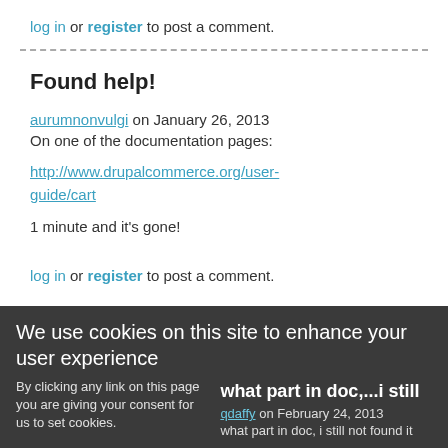log in  or  register  to post a comment.
Found help!
aurumnonvulgi on January 26, 2013
On one of the documentation pages:
http://www.drupalcommerce.org/user-guide/cart
1 minute and it's gone!
log in  or  register  to post a comment.
We use cookies on this site to enhance your user experience
By clicking any link on this page you are giving your consent for us to set cookies.
what part in doc,...i still
qdaffy on February 24, 2013
what part in doc, i still not found it